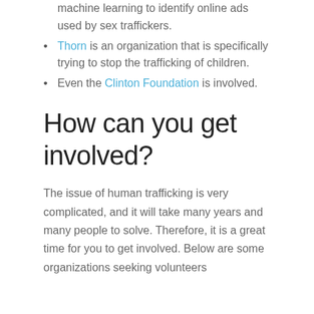machine learning to identify online ads used by sex traffickers.
Thorn is an organization that is specifically trying to stop the trafficking of children.
Even the Clinton Foundation is involved.
How can you get involved?
The issue of human trafficking is very complicated, and it will take many years and many people to solve. Therefore, it is a great time for you to get involved. Below are some organizations seeking volunteers